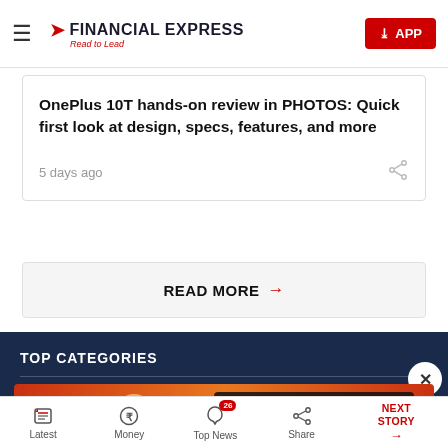FINANCIAL EXPRESS — Read to Lead | APP
OnePlus 10T hands-on review in PHOTOS: Quick first look at design, specs, features, and more
5 days ago
READ MORE →
TOP CATEGORIES
Jobs
Brand Wagon
[Figure (photo): BitLife advertisement banner — FAIL themed with animated character, orange/red background, 'START A NEW LIFE' text]
Latest | Money | Top News (26) | Share | NEXT STORY →